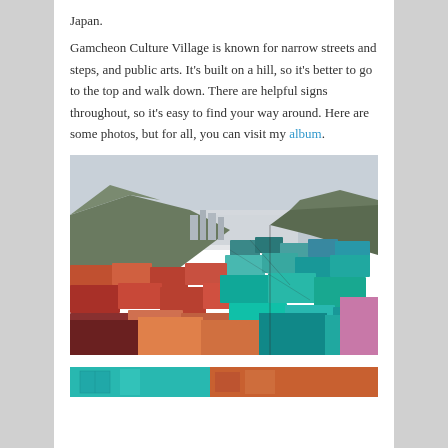Japan.
Gamcheon Culture Village is known for narrow streets and steps, and public arts. It’s built on a hill, so it’s better to go to the top and walk down. There are helpful signs throughout, so it’s easy to find your way around. Here are some photos, but for all, you can visit my album.
[Figure (photo): Aerial view of Gamcheon Culture Village in Busan, South Korea, showing colorful densely packed houses on hillsides with mountains in the background and hazy sky.]
[Figure (photo): Partial view of colorful buildings in Gamcheon Culture Village, showing teal/turquoise and orange-brown structures.]